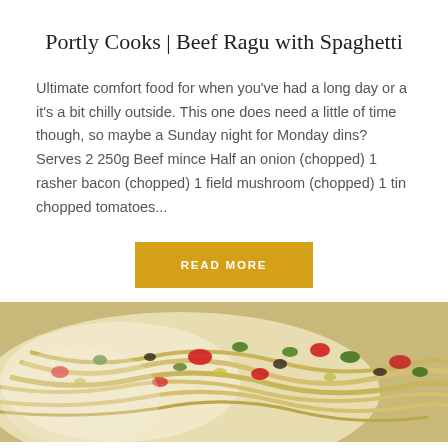Portly Cooks | Beef Ragu with Spaghetti
Ultimate comfort food for when you've had a long day or a it's a bit chilly outside. This one does need a little of time though, so maybe a Sunday night for Monday dins? Serves 2 250g Beef mince Half an onion (chopped) 1 rasher bacon (chopped) 1 field mushroom (chopped) 1 tin chopped tomatoes...
READ MORE
[Figure (photo): Close-up photo of pasta dish with colorful vegetable toppings including red peppers, green herbs, and olives on a light background]